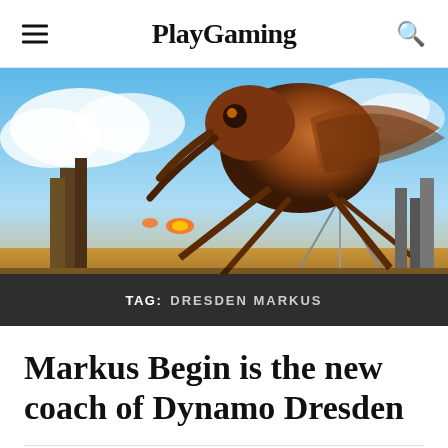PlayGaming
[Figure (illustration): Digital fantasy/sci-fi game art showing a giant mechanical insect robot towering over an industrial cityscape with cranes and towers, warm golden sky with clouds]
TAG: DRESDEN MARKUS
Markus Begin is the new coach of Dynamo Dresden